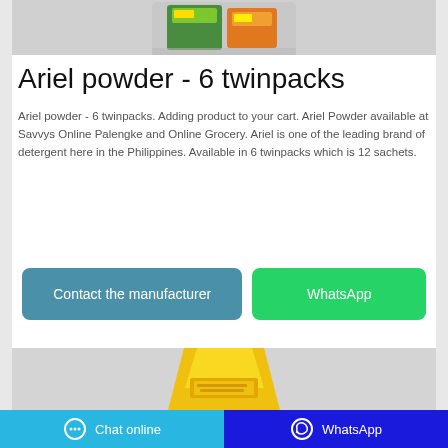[Figure (photo): Top portion of an Ariel detergent powder product image on a gray background]
Ariel powder - 6 twinpacks
Ariel powder - 6 twinpacks. Adding product to your cart. Ariel Powder available at Savvys Online Palengke and Online Grocery. Ariel is one of the leading brand of detergent here in the Philippines. Available in 6 twinpacks which is 12 sachets.
Contact the manufacturer
WhatsApp
[Figure (photo): Bottom portion showing a yellow detergent product bag on a gray background]
Chat online   WhatsApp